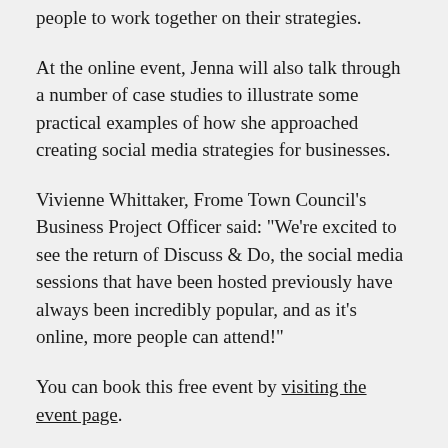people to work together on their strategies.
At the online event, Jenna will also talk through a number of case studies to illustrate some practical examples of how she approached creating social media strategies for businesses.
Vivienne Whittaker, Frome Town Council’s Business Project Officer said: “We’re excited to see the return of Discuss & Do, the social media sessions that have been hosted previously have always been incredibly popular, and as it’s online, more people can attend!”
You can book this free event by visiting the event page.